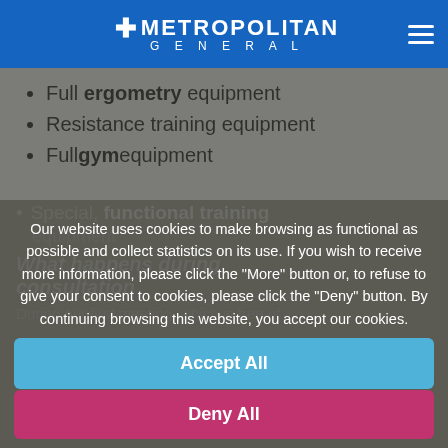METROPOLITAN GENERAL
Full ergometry equipment
Resistance training equipment
Full gym equipment
Special, functional training equipment
Our website uses cookies to make browsing as functional as possible and collect statistics on its use. If you wish to receive more information, please click the "More" button or, to refuse to give your consent to cookies, please click the "Deny" button. By continuing browsing this website, you accept our cookies.
Accept All
Deny All
Settings
More